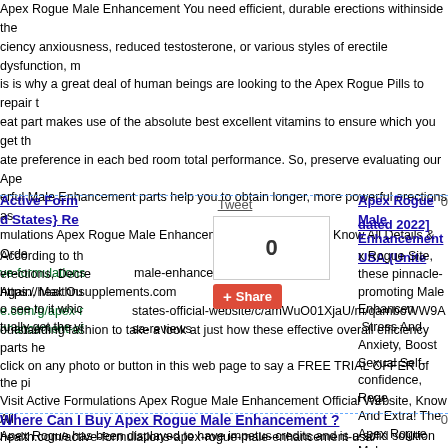Apex Rogue Male Enhancement You need efficient, durable erections withinside the ciency anxiousness, reduced testosterone, or various styles of erectile dysfunction, m is is why a great deal of human beings are looking to the Apex Rogue Pills to repair t eat part makes use of the absolute best excellent vitamins to ensure which you get th ate preference in each bed room total performance. So, preserve evaluating our Ape erful Male Enhancement parts help you to obtain longer, more powerful erections as mulations Apex Rogue Male Enhancement Official Website, Know All Details & Orde ve-formulations male-enhancement-usa/ https://healthnsupplements.com e.com/g/apex-r states-official-website/c/amWuO01XjaU/m/qamboWW9A nhancement-of sa-reviews
Active Formulations Apex Rogue Male Enhancement USA {United States} Re...
Tweet
0
Apex Rogue Male Enhancement USA {Unite dated 2022]
According to th x Rogue Site, these pinnacle-promoting Male Enhancen erections, Decre Stress And Anxiety, Boost Sexual Self-confidence, Rege Again, Max Ou And Extra! The Apex Rogue Male Enhancement Capsule o see to it whic our testosterone phases and also erection dimension! W tually get the vi our framework wants to close longer and also obtain eve outstanding fashion to take a look at just how these effective overall efficiency parts he click on any photo or button in this web page to say a FREE TRIAL OFFER of the pi Visit Active Formulations Apex Rogue Male Enhancement Official Website, Know All health.com/active-formulations-apex-rogue-male-enhancement-usa/ https://healthns ://groups.google.com/g/apex-rogue-united-states-official-website/c/amWuO01XjaU/ ex-rogue-male-enhancement-offer-cost-the-usa-reviews
Where Can I Buy Apex Rogue Male Enhancement ?
0
Apex Rogue has been displayed to have impetus credits and is a solid solution for lo l longing. This thing is supposed to give quality sexual relations to people who are no g sexual relations. If you're not satisfied with your marriage or you detest a special co